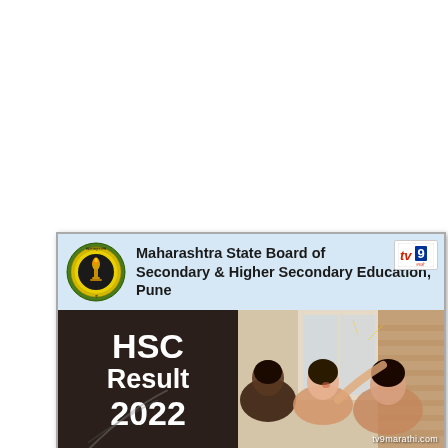[Figure (infographic): Maharashtra State Board of Secondary & Higher Secondary Education, Pune HSC Result 2022 promotional card with board logo, header text, dark left panel showing 'HSC Result 2022', and a photo of students on the right. TV9 Marathi branding shown.]